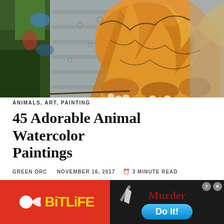[Figure (photo): Close-up photograph of a colorful mural or painting of a large animal (bear or similar) with orange, yellow, and brown tones against a grey textured background with green foliage on left side.]
ANIMALS, ART, PAINTING
45 Adorable Animal Watercolor Paintings
GREEN ORC   NOVEMBER 16, 2017   🕐 3 MINUTE READ
Watercolors are the best tool to create magic on paper. You
[Figure (photo): Advertisement banner split into two parts: left side shows red background with BitLife logo (yellow text with sperm icon), right side shows dark background with a knife graphic, 'Murder' text in dark red, and 'Do it!' on a blue rounded button, with close/help icons in top right corner.]